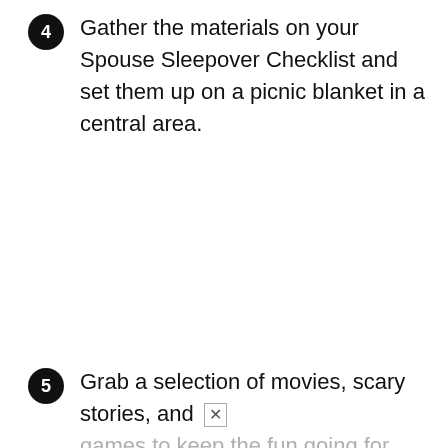4 Gather the materials on your Spouse Sleepover Checklist and set them up on a picnic blanket in a central area.
5 Grab a selection of movies, scary stories, and games to keep the fun going for hours!